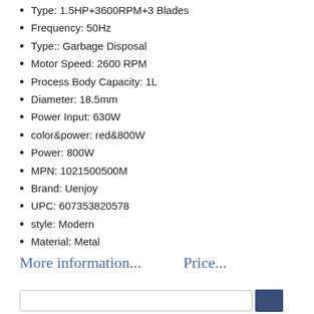Type: 1.5HP+3600RPM+3 Blades
Frequency: 50Hz
Type:: Garbage Disposal
Motor Speed: 2600 RPM
Process Body Capacity: 1L
Diameter: 18.5mm
Power Input: 630W
color&power: red&800W
Power: 800W
MPN: 1021500500M
Brand: Uenjoy
UPC: 607353820578
style: Modern
Material: Metal
More information...   Price...